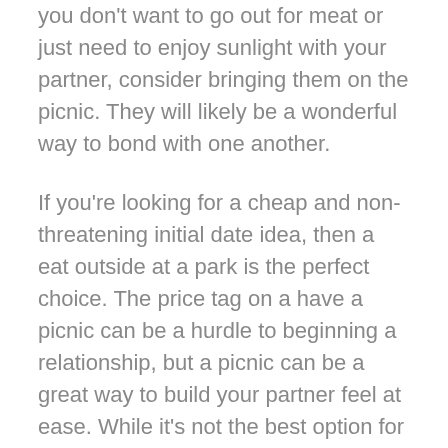you don't want to go out for meat or just need to enjoy sunlight with your partner, consider bringing them on the picnic. They will likely be a wonderful way to bond with one another.
If you're looking for a cheap and non-threatening initial date idea, then a eat outside at a park is the perfect choice. The price tag on a have a picnic can be a hurdle to beginning a relationship, but a picnic can be a great way to build your partner feel at ease. While it's not the best option for anyone, a eat outside is still a wonderful option for a primary date. Considerably more . chance to get to know each other while taking pleasure in your time alongside one another.